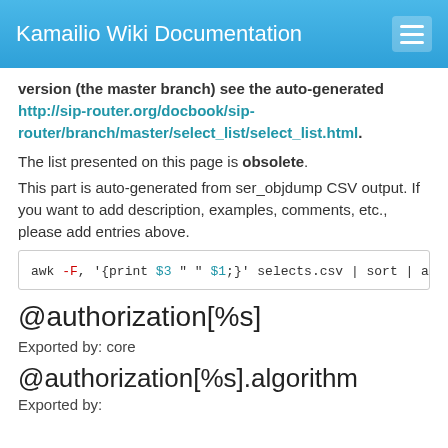Kamailio Wiki Documentation
version (the master branch) see the auto-generated http://sip-router.org/docbook/sip-router/branch/master/select_list/select_list.html.
The list presented on this page is obsolete.
This part is auto-generated from ser_objdump CSV output. If you want to add description, examples, comments, etc., please add entries above.
awk -F, '{print $3 " " $1;}' selects.csv | sort | awk '{p
@authorization[%s]
Exported by: core
@authorization[%s].algorithm
Exported by: